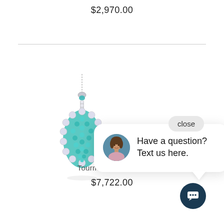$2,970.00
[Figure (photo): A teardrop-shaped pendant with teal/blue tourmaline stones surrounded by diamonds on a delicate silver chain]
[Figure (screenshot): Chat widget popup showing 'close' button, avatar of a woman, and text 'Have a question? Text us here.']
Have a question? Text us here.
Tourmaline Pendant
$7,722.00